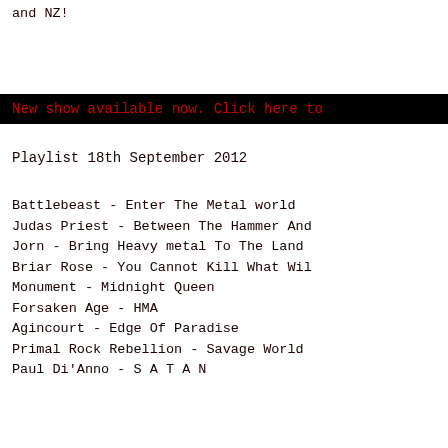and NZ!
New show available now. Click here to
Playlist 18th September 2012
Battlebeast - Enter The Metal world
Judas Priest - Between The Hammer And
Jorn - Bring Heavy metal To The Land
Briar Rose - You Cannot Kill What Wil
Monument - Midnight Queen
Forsaken Age - HMA
Agincourt - Edge Of Paradise
Primal Rock Rebellion - Savage World
Paul Di'Anno - S A T A N